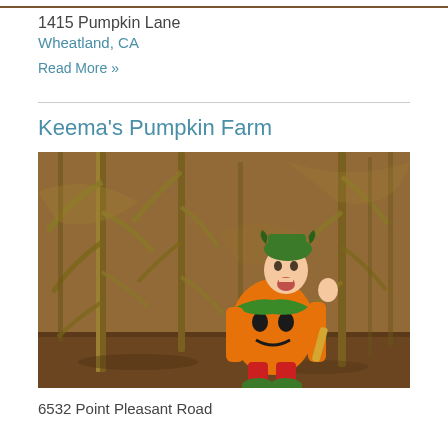[Figure (photo): Partial top strip of a farm/pumpkin patch photo at the very top of the page]
1415 Pumpkin Lane
Wheatland, CA
Read More »
Keema's Pumpkin Farm
[Figure (photo): A young child dressed in an orange pumpkin Halloween costume with green hat and booties, sitting among dried corn stalks in a corn maze, holding a small ear of corn, smiling with mouth open]
6532 Point Pleasant Road